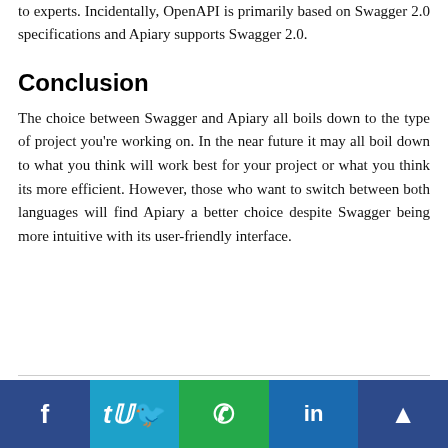to experts. Incidentally, OpenAPI is primarily based on Swagger 2.0 specifications and Apiary supports Swagger 2.0.
Conclusion
The choice between Swagger and Apiary all boils down to the type of project you're working on. In the near future it may all boil down to what you think will work best for your project or what you think its more efficient. However, those who want to switch between both languages will find Apiary a better choice despite Swagger being more intuitive with its user-friendly interface.
Social share bar: Facebook, Twitter, WhatsApp, LinkedIn, Share